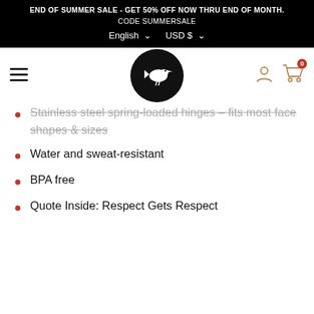END OF SUMMER SALE - GET 50% OFF NOW THRU END OF MONTH. CODE SUMMERSALE
English  USD $
[Figure (logo): Black circle with white bird silhouette logo]
Stainless steel spring-loaded hinges – fits most face shapes & sizes
Water and sweat-resistant
BPA free
Quote Inside: Respect Gets Respect